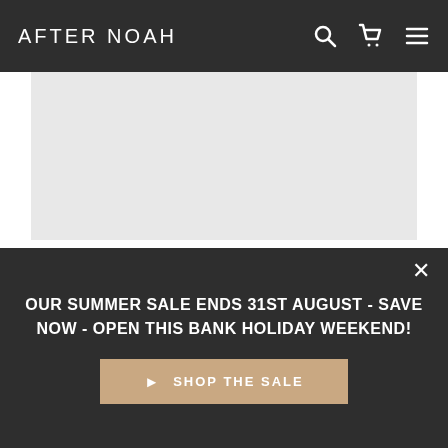AFTER NOAH
[Figure (photo): Light grey placeholder image area for a product or person photo]
Mark Coverdale
SENIOR FURNITURE RESTORER & WORDSMITH
SiteKit
OUR SUMMER SALE ENDS 31ST AUGUST - SAVE NOW - OPEN THIS BANK HOLIDAY WEEKEND!
SHOP THE SALE